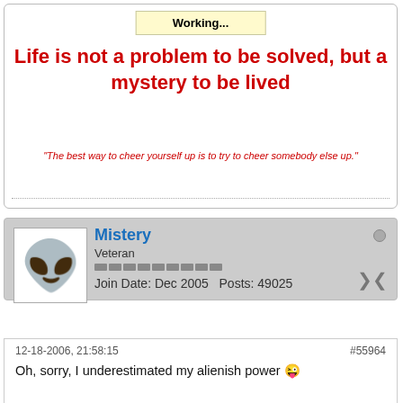Working...
Life is not a problem to be solved, but a mystery to be lived
"The best way to cheer yourself up is to try to cheer somebody else up."
Mistery
Veteran
Join Date: Dec 2005   Posts: 49025
12-18-2006, 21:58:15
#55964
Oh, sorry, I underestimated my alienish power
*Puts some ice on Darknight's nose*
Are you okay now?

@Crazy
Hi and bye, sleep well